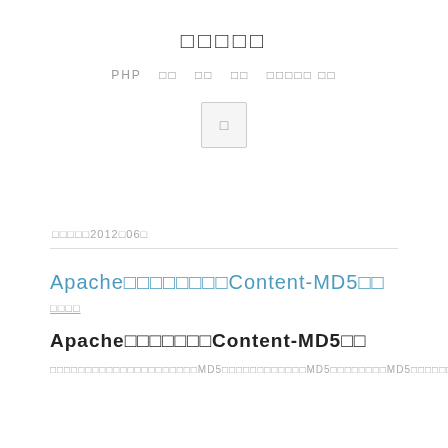□□□□□
PHP □□ □□ □□ □□□□□ □□
[Figure (other): Search button icon]
□□□□□2012□06□
Apache□□□□□□□□Content-MD5□□
□□□□
Apache□□□□□□□Content-MD5□□
□□□□□□□□□□□□□□□□□□□□□MD5□□□□□□□□□□□□MD5□□□□□□□□MD5□□□□□□□□□□□□□